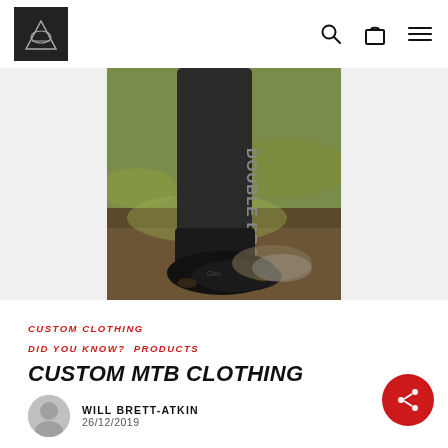Double Drop — navigation header with logo, search, bag, and menu icons
[Figure (photo): Close-up photo of a person's lower leg wearing dark pants with 'DOUBLE DROP' text printed vertically, and a muddy cycling shoe, standing on grass/mud ground]
CUSTOM CLOTHING
DID YOU KNOW?  PRODUCTS
CUSTOM MTB CLOTHING
WILL BRETT-ATKIN
26/12/2019